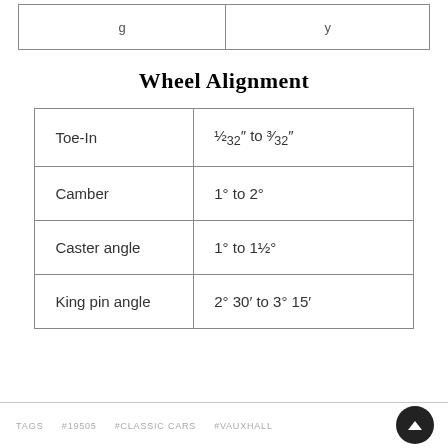| … | …y |
Wheel Alignment
| Toe-In | ½32″ to ³⁄32″ |
| Camber | 1° to 2° |
| Caster angle | 1° to 1½° |
| King pin angle | 2° 30′ to 3° 15′ |
TAGS   #19505   #CLASSIC CARS   #VAUXHALL